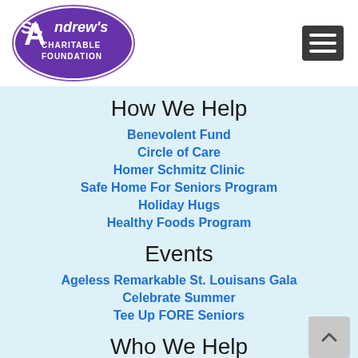[Figure (logo): St. Andrew's Charitable Foundation logo — white text on purple oval background]
How We Help
Benevolent Fund
Circle of Care
Homer Schmitz Clinic
Safe Home For Seniors Program
Holiday Hugs
Healthy Foods Program
Events
Ageless Remarkable St. Louisans Gala
Celebrate Summer
Tee Up FORE Seniors
Who We Help
Who We Help